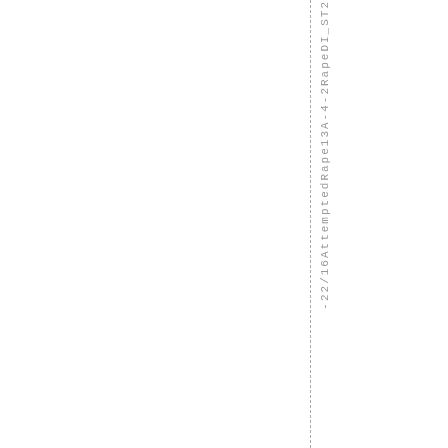-22/16AttemptedRape13A-4-2RapeDI_ST2